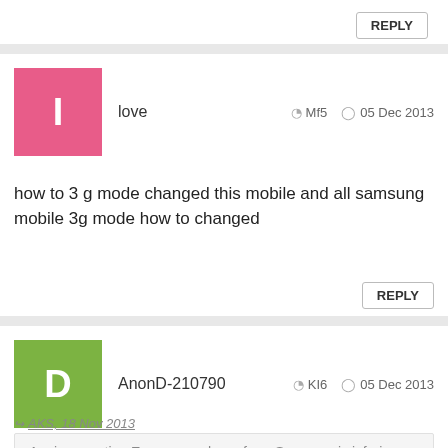REPLY
love  Mf5  05 Dec 2013
how to 3 g mode changed this mobile and all samsung mobile 3g mode how to changed
REPLY
AnonD-210790  KI6  05 Dec 2013
AKS, 18 Nov 2013
Again repeating.Every new phone from Samsung is inferior th... more
Exactly!! thats exactly what Samsung is doing wrong. I would buy a Moto G instead of these new phones. Although I was a samsung fan, but nowadays samsung is trying to fool the consumers into